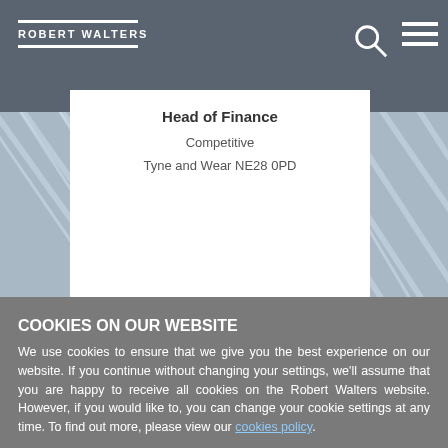ROBERT WALTERS
Head of Finance
Competitive
Tyne and Wear NE28 0PD
COOKIES ON OUR WEBSITE
We use cookies to ensure that we give you the best experience on our website. If you continue without changing your settings, we'll assume that you are happy to receive all cookies on the Robert Walters website. However, if you would like to, you can change your cookie settings at any time. To find out more, please view our cookies policy.
I agree
No, give me more information